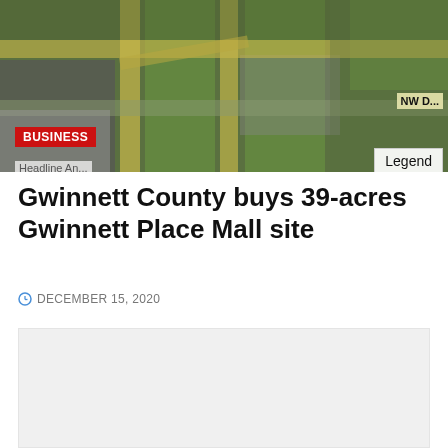[Figure (map): Aerial/satellite map view showing the Gwinnett Place Mall area with roads, green spaces, and a Legend box and 'NW D...' label in upper right corner, plus a red 'BUSINESS' tag overlay]
Gwinnett County buys 39-acres Gwinnett Place Mall site
DECEMBER 15, 2020
[Figure (other): Second image placeholder (light gray box)]